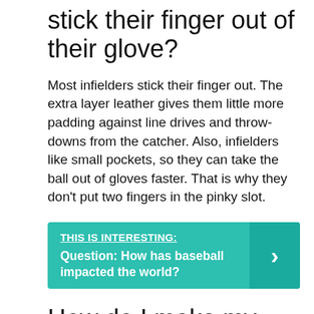stick their finger out of their glove?
Most infielders stick their finger out. The extra layer leather gives them little more padding against line drives and throw-downs from the catcher. Also, infielders like small pockets, so they can take the ball out of gloves faster. That is why they don't put two fingers in the pinky slot.
THIS IS INTERESTING: Question: How has baseball impacted the world?
How do I make my baseball glove not slippery?